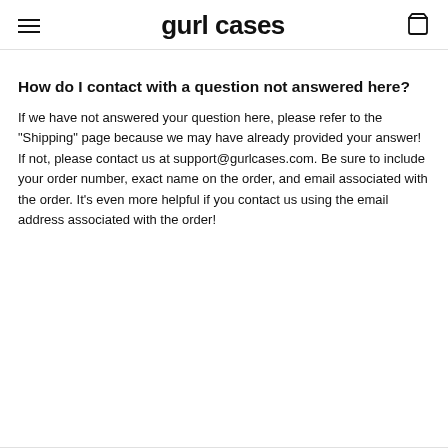gurl cases
How do I contact with a question not answered here?
If we have not answered your question here, please refer to the "Shipping" page because we may have already provided your answer! If not, please contact us at support@gurlcases.com. Be sure to include your order number, exact name on the order, and email associated with the order. It's even more helpful if you contact us using the email address associated with the order!